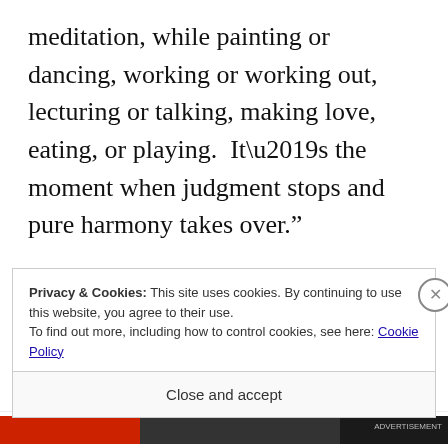meditation, while painting or dancing, working or working out, lecturing or talking, making love, eating, or playing.  It’s the moment when judgment stops and pure harmony takes over.”
You could say when that young man first experienced the long and slow touch from his high school sweetheart he also discovered his Authentic Self.  The sensual act unleashed
Privacy & Cookies: This site uses cookies. By continuing to use this website, you agree to their use.
To find out more, including how to control cookies, see here: Cookie Policy
Close and accept